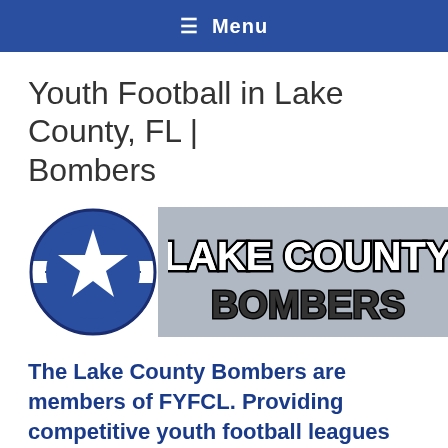≡ Menu
Youth Football in Lake County, FL | Bombers
[Figure (logo): Lake County Bombers logo: a blue and white star roundel on the left, and a grey banner with bold black text reading LAKE COUNTY BOMBERS on the right.]
The Lake County Bombers are members of FYFCL. Providing competitive youth football leagues and youth cheer clubs for the Lake